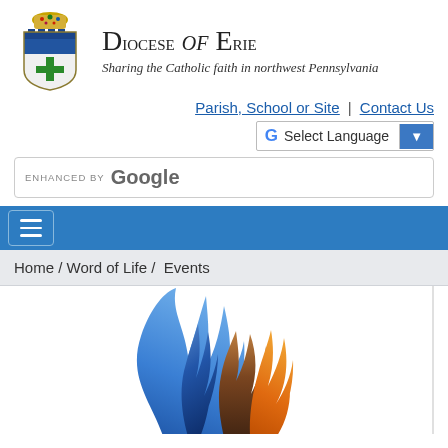[Figure (logo): Diocese of Erie coat of arms / shield logo with bishop's mitre on top, blue and white heraldic shield with green cross]
Diocese of Erie
Sharing the Catholic faith in northwest Pennsylvania
Parish, School or Site | Contact Us
[Figure (screenshot): Google Translate select language widget with G logo and dropdown arrow]
[Figure (screenshot): Enhanced by Google search bar]
[Figure (screenshot): Blue navigation bar with hamburger menu icon]
Home / Word of Life /  Events
[Figure (illustration): Colorful flame illustration with blue, orange, and brown flame shapes on white background]